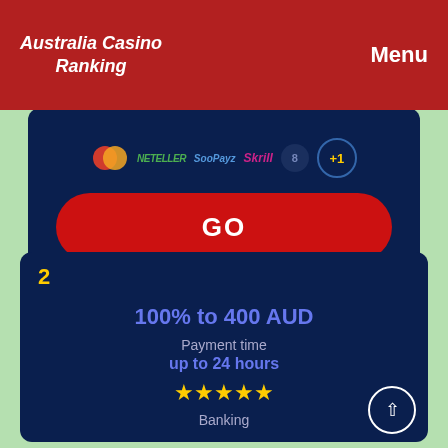Australia Casino Ranking | Menu
[Figure (screenshot): Top casino card (partially visible) showing payment icons (MasterCard, NETELLER, SoPayz, Skrill, +1), a red GO button, and a Review link on dark navy background]
2
100% to 400 AUD
Payment time
up to 24 hours
★★★★★
Banking